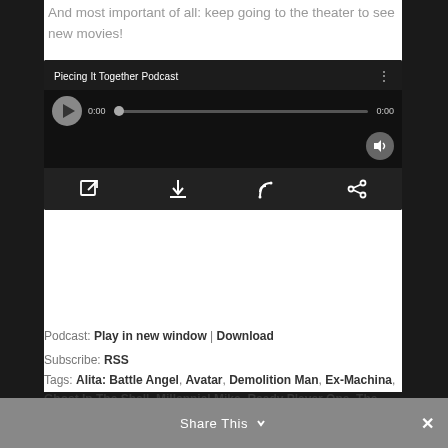And most important of all: keep going to the theater to see new movies!
[Figure (screenshot): Podcast audio player widget with dark background showing 'Piecing It Together Podcast', play button, progress bar showing 0:00 / 0:00, volume button, and bottom toolbar with share/download/RSS/share icons]
Podcast: Play in new window | Download
Subscribe: RSS
Tags: Alita: Battle Angel, Avatar, Demolition Man, Ex-Machina, Ghost In The Shell, Millennial Mike, Ready Player One, The Matrix Series, Wonder Woman
Share This  ×